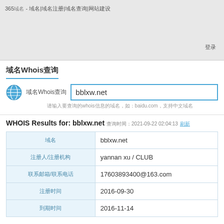365域名 - 域名|域名注册|域名查询|网站建设
登录
域名Whois查询
域名Whois查询  bblxw.net
请输入要查询的whois信息的域名，如：baidu.com，支持中文域名
WHOIS Results for: bblxw.net 查询时间：2021-09-22 02:04:13 刷新
| 字段 | 值 |
| --- | --- |
| 域名 | bblxw.net |
| 注册人/注册机构 | yannan xu / CLUB |
| 联系邮箱/联系电话 | 17603893400@163.com |
| 注册时间 | 2016-09-30 |
| 到期时间 | 2016-11-14 |